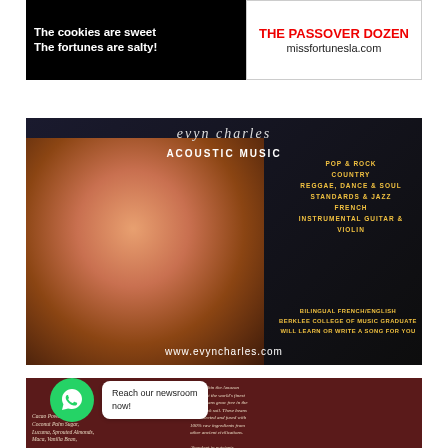[Figure (illustration): Advertisement banner: black left panel with white bold text 'The cookies are sweet / The fortunes are salty!' and white right panel with red bold text 'THE PASSOVER DOZEN' and URL 'missfortunesla.com']
[Figure (photo): Advertisement for Evyn Charles Acoustic Music: dark background with smiling man in pink shirt playing acoustic guitar, text listing music genres (Pop & Rock, Country, Reggae Dance & Soul, Standards & Jazz, French, Instrumental Guitar & Violin), Bilingual French/English, Berklee College of Music Graduate, Will learn or write a song for you. URL: www.evyncharles.com]
[Figure (photo): Advertisement for L'Over chocolate product on dark red background with ingredient text and product description mentioning Amazon rainforest cacao beans]
[Figure (infographic): WhatsApp contact button overlay with green circular WhatsApp icon and white speech bubble saying 'Reach our newsroom now!']